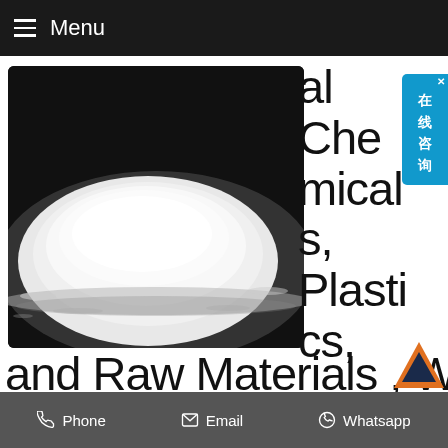Menu
[Figure (photo): White powder (PAM polyacrylamide) mounded on a dark background]
al Chemicals, Plastics, and Raw Materials , Water
We are a specialized company of producing PAM and other series chemical products. We also ha the ability with feature anion, cation, zwitterion
Phone  Email  Whatsapp